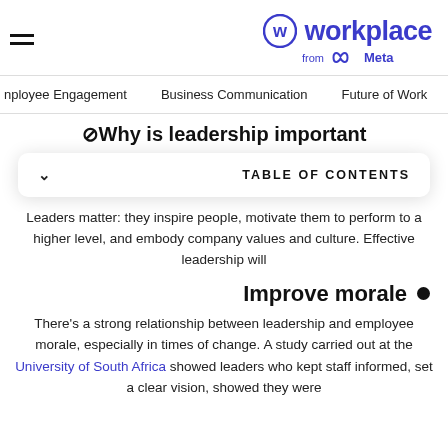workplace from Meta
Employee Engagement   Business Communication   Future of Work
Why is leadership important
TABLE OF CONTENTS
Leaders matter: they inspire people, motivate them to perform to a higher level, and embody company values and culture. Effective leadership will
Improve morale
There's a strong relationship between leadership and employee morale, especially in times of change. A study carried out at the University of South Africa showed leaders who kept staff informed, set a clear vision, showed they were